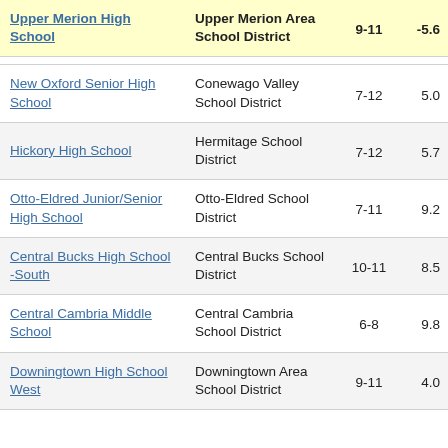| School | District | Grades | Score |
| --- | --- | --- | --- |
| Upper Merion High School | Upper Merion Area School District | 9-11 | -5.6 |
| New Oxford Senior High School | Conewago Valley School District | 7-12 | 5.0 |
| Hickory High School | Hermitage School District | 7-12 | 5.7 |
| Otto-Eldred Junior/Senior High School | Otto-Eldred School District | 7-11 | 9.2 |
| Central Bucks High School -South | Central Bucks School District | 10-11 | 8.5 |
| Central Cambria Middle School | Central Cambria School District | 6-8 | 9.8 |
| Downingtown High School West | Downingtown Area School District | 9-11 | 4.0 |